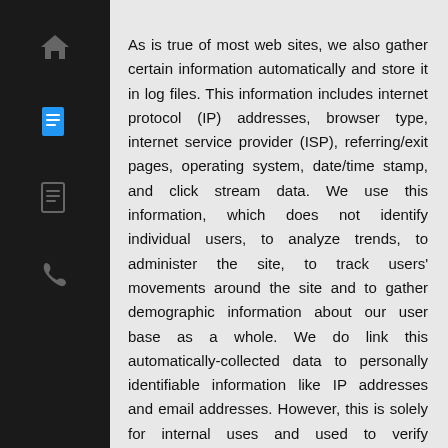As is true of most web sites, we also gather certain information automatically and store it in log files. This information includes internet protocol (IP) addresses, browser type, internet service provider (ISP), referring/exit pages, operating system, date/time stamp, and click stream data. We use this information, which does not identify individual users, to analyze trends, to administer the site, to track users' movements around the site and to gather demographic information about our user base as a whole. We do link this automatically-collected data to personally identifiable information like IP addresses and email addresses. However, this is solely for internal uses and used to verify appropriate registration methods.